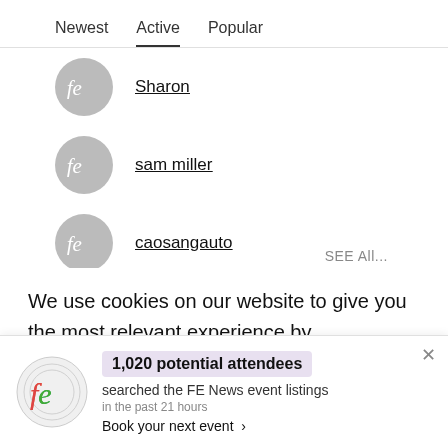Newest   Active   Popular
Sharon
sam miller
caosangauto
SEE All...
We use cookies on our website to give you the most relevant experience by remembering your preferences and repeat visits. By clicking “Accept”, you consent to
1,020 potential attendees
searched the FE News event listings
in the past 21 hours
Book your next event >